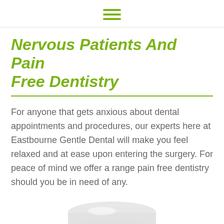☰
Nervous Patients And Pain Free Dentistry
For anyone that gets anxious about dental appointments and procedures, our experts here at Eastbourne Gentle Dental will make you feel relaxed and at ease upon entering the surgery. For peace of mind we offer a range pain free dentistry should you be in need of any.
[Figure (photo): A white medicine or dental supply bottle/container, bottom portion visible, centered on white background]